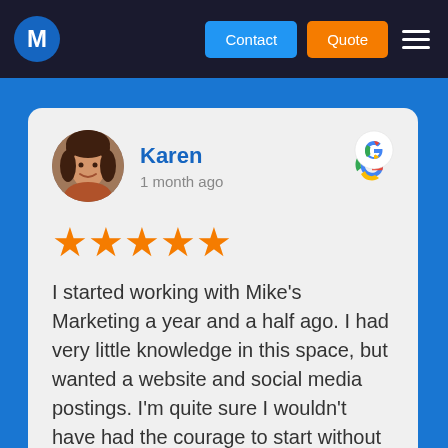M  Contact  Quote
Karen
1 month ago
★★★★★
I started working with Mike's Marketing a year and a half ago. I had very little knowledge in this space, but wanted a website and social media postings. I'm quite sure I wouldn't have had the courage to start without their expertise.